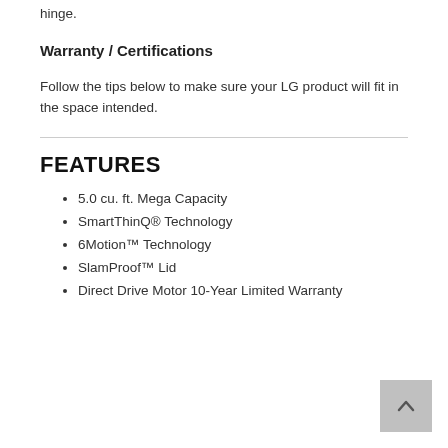hinge.
Warranty / Certifications
Follow the tips below to make sure your LG product will fit in the space intended.
FEATURES
5.0 cu. ft. Mega Capacity
SmartThinQ® Technology
6Motion™ Technology
SlamProof™ Lid
Direct Drive Motor 10-Year Limited Warranty